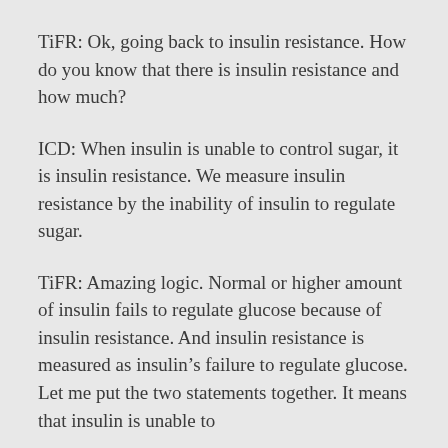TiFR: Ok, going back to insulin resistance. How do you know that there is insulin resistance and how much?
ICD: When insulin is unable to control sugar, it is insulin resistance. We measure insulin resistance by the inability of insulin to regulate sugar.
TiFR: Amazing logic. Normal or higher amount of insulin fails to regulate glucose because of insulin resistance. And insulin resistance is measured as insulin’s failure to regulate glucose. Let me put the two statements together. It means that insulin is unable to